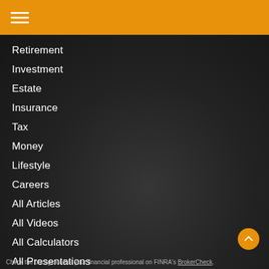Navigation menu header bar with hamburger icon
Retirement
Investment
Estate
Insurance
Tax
Money
Lifestyle
Careers
All Articles
All Videos
All Calculators
All Presentations
Check the background of your financial professional on FINRA's BrokerCheck.